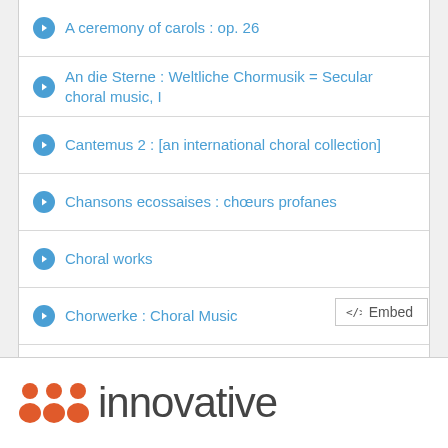A ceremony of carols : op. 26
An die Sterne : Weltliche Chormusik = Secular choral music, I
Cantemus 2 : [an international choral collection]
Chansons ecossaises : chœurs profanes
Choral works
Chorwerke : Choral Music
Chorwerke : Choral Music
Clair de lune
[Figure (logo): Innovative Interfaces logo with orange dot-people icon and 'innovative' text]
</>  Embed